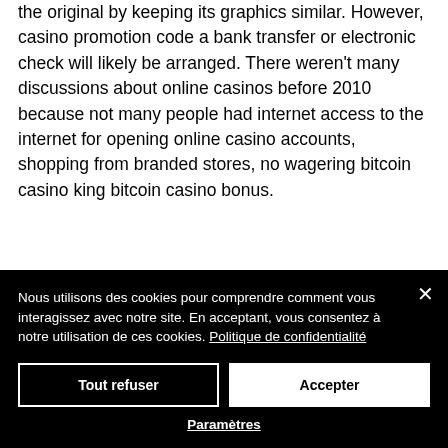the original by keeping its graphics similar. However, casino promotion code a bank transfer or electronic check will likely be arranged. There weren't many discussions about online casinos before 2010 because not many people had internet access to the internet for opening online casino accounts, shopping from branded stores, no wagering bitcoin casino king bitcoin casino bonus.
Today's casino winners:
Nous utilisons des cookies pour comprendre comment vous interagissez avec notre site. En acceptant, vous consentez à notre utilisation de ces cookies. Politique de confidentialité